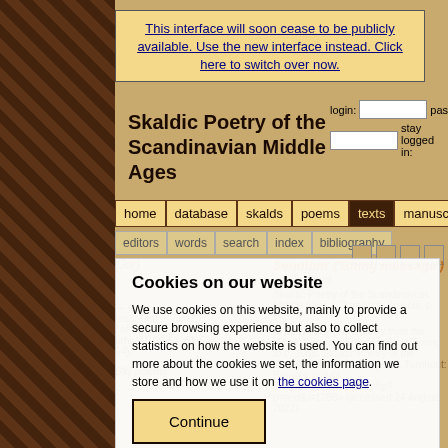[Figure (illustration): Left decorative panel with dark brown Celtic/Nordic knotwork pattern]
This interface will soon cease to be publicly available. Use the new interface instead. Click here to switch over now.
Skaldic Poetry of the Scandinavian Middle Ages
login: [input] password: [input] stay logged in: [checkbox] [?] log in
home
database
skalds
poems
texts
manuscripts
editors
words
search
index
bibliography
Cookies on our website
We use cookies on this website, mainly to provide a secure browsing experience but also to collect statistics on how the website is used. You can find out more about the cookies we set, the information we store and how we use it on the cookies page.
Continue